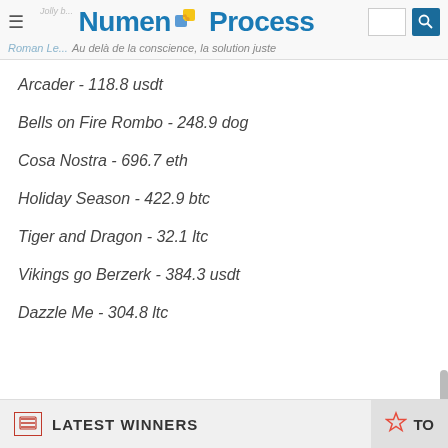Numen Process — Au delà de la conscience, la solution juste
Arcader - 118.8 usdt
Bells on Fire Rombo - 248.9 dog
Cosa Nostra - 696.7 eth
Holiday Season - 422.9 btc
Tiger and Dragon - 32.1 ltc
Vikings go Berzerk - 384.3 usdt
Dazzle Me - 304.8 ltc
LATEST WINNERS | TO